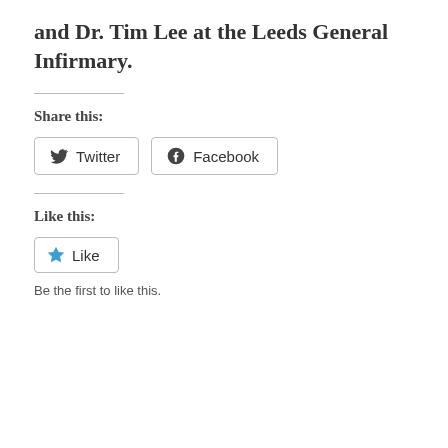and Dr. Tim Lee at the Leeds General Infirmary.
Share this:
Twitter
Facebook
Like this:
Like
Be the first to like this.